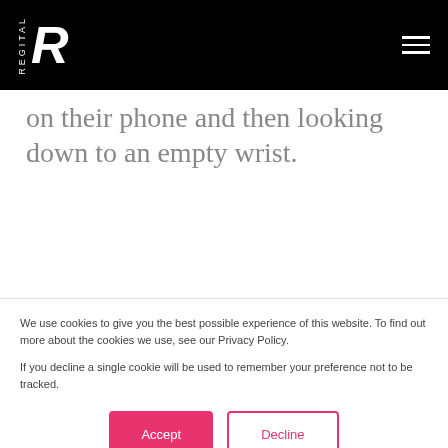REGITAL
on their phone and then looking down to an empty wrist.
We use cookies to give you the best possible experience of this website. To find out more about the cookies we use, see our Privacy Policy.

If you decline a single cookie will be used to remember your preference not to be tracked.
Accept
Decline